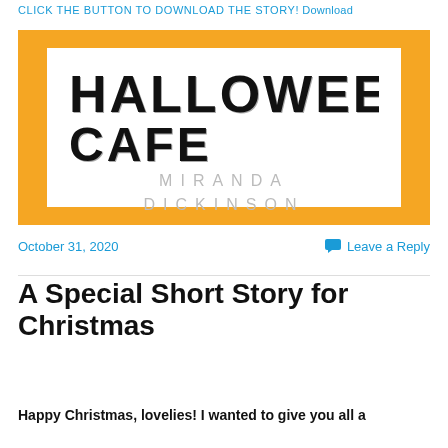CLICK THE BUTTON TO DOWNLOAD THE STORY!  Download
[Figure (illustration): Book cover for 'Halloween Cafe' by Miranda Dickinson. Orange border surrounding white background with decorative spooky font text 'HALLOWEEN CAFE' at top and author name 'MIRANDA DICKINSON' in outlined grey letters below.]
October 31, 2020
Leave a Reply
A Special Short Story for Christmas
Happy Christmas, lovelies! I wanted to give you all a